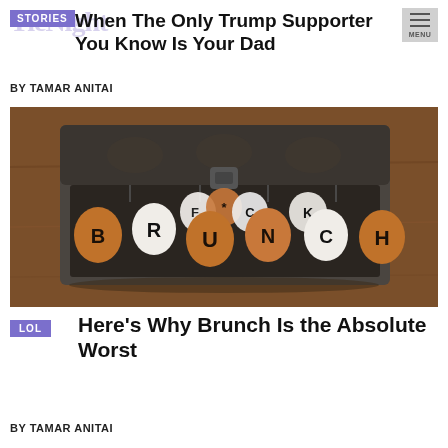TieNight
STORIES
When The Only Trump Supporter You Know Is Your Dad
BY TAMAR ANITAI
[Figure (photo): An egg carton on a wooden table containing brown and white eggs with letters written on them spelling out BRUNCH with asterisk characters]
LOL
Here's Why Brunch Is the Absolute Worst
BY TAMAR ANITAI